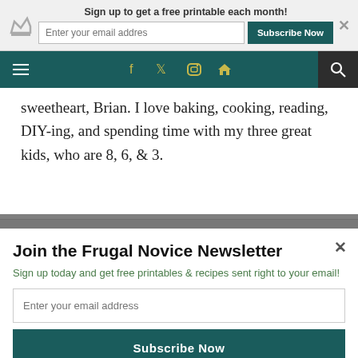Sign up to get a free printable each month!
sweetheart, Brian. I love baking, cooking, reading, DIY-ing, and spending time with my three great kids, who are 8, 6, & 3.
YOU MIGHT ALSO LIKE
Join the Frugal Novice Newsletter
Sign up today and get free printables & recipes sent right to your email!